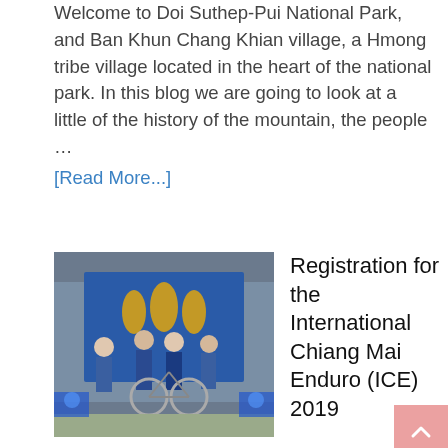Welcome to Doi Suthep-Pui National Park, and Ban Khun Chang Khian village, a Hmong tribe village located in the heart of the national park. In this blog we are going to look at a little of the history of the mountain, the people … [Read More...]
[Figure (photo): Photo of people posing with a bicycle at an event with blue decorations and signage in the background.]
Registration for the International Chiang Mai Enduro (ICE) 2019
Created on August 12, 2019 and last updated on August 12, 2019 by Ulysses N. Owen
Registration for the International Chiang Mai Enduro (ICE) 2019 is officially open with the next this blog we are going for...